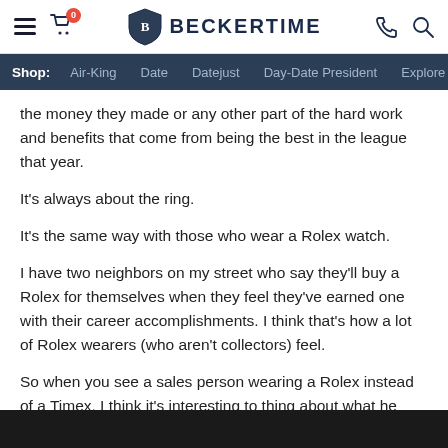BECKERTIME — navigation bar with hamburger menu, cart (0), phone and search icons
Shop: Air-King  Date  Datejust  Day-Date President  Explore >
the money they made or any other part of the hard work and benefits that come from being the best in the league that year.
It's always about the ring.
It's the same way with those who wear a Rolex watch.
I have two neighbors on my street who say they'll buy a Rolex for themselves when they feel they've earned one with their career accomplishments. I think that's how a lot of Rolex wearers (who aren't collectors) feel.
So when you see a sales person wearing a Rolex instead of a Timex, I think it's interesting to thing about what he may have done in his own eyes to earn that watch.
[Figure (photo): Dark bottom strip / image thumbnail at the bottom of the page]